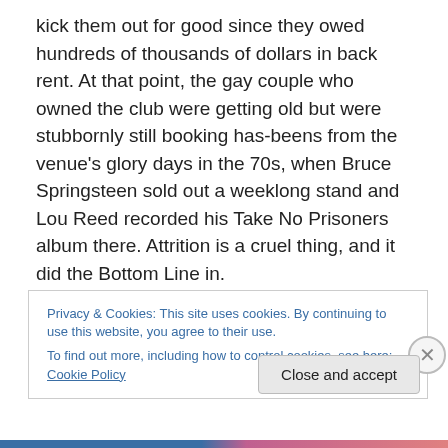kick them out for good since they owed hundreds of thousands of dollars in back rent. At that point, the gay couple who owned the club were getting old but were stubbornly still booking has-beens from the venue's glory days in the 70s, when Bruce Springsteen sold out a weeklong stand and Lou Reed recorded his Take No Prisoners album there. Attrition is a cruel thing, and it did the Bottom Line in.

Still, the club made the occasional halfhearted attempt to draw a crowd. The most successful, at least moneywise,
Privacy & Cookies: This site uses cookies. By continuing to use this website, you agree to their use.
To find out more, including how to control cookies, see here: Cookie Policy
Close and accept